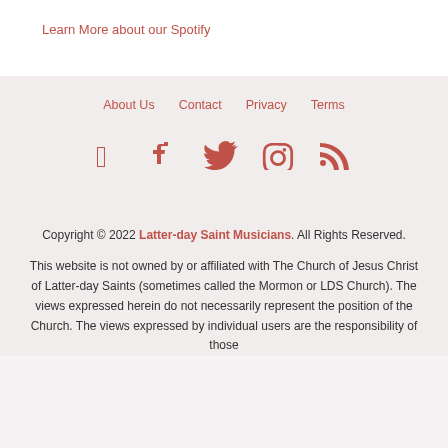Learn More about our Spotify
About Us   Contact   Privacy   Terms
[Figure (illustration): Four social media icons: Facebook, Twitter, Instagram, RSS feed — in reddish-brown color]
Copyright © 2022 Latter-day Saint Musicians. All Rights Reserved.
This website is not owned by or affiliated with The Church of Jesus Christ of Latter-day Saints (sometimes called the Mormon or LDS Church). The views expressed herein do not necessarily represent the position of the Church. The views expressed by individual users are the responsibility of those